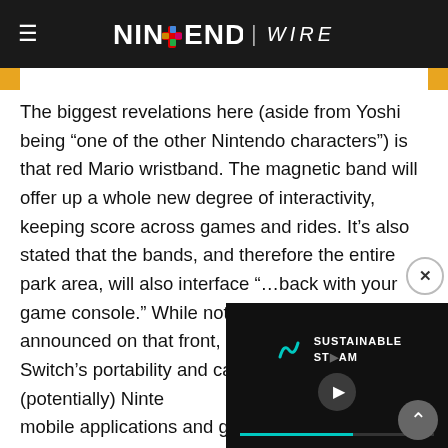NINTENDO WIRE
The biggest revelations here (aside from Yoshi being “one of the other Nintendo characters”) is that red Mario wristband. The magnetic band will offer up a whole new degree of interactivity, keeping score across games and rides. It’s also stated that the bands, and therefore the entire park area, will also interface “…back with your game console.” While noth[ing has been] announced on that front, it [hints at the Nintendo] Switch’s portability and ca[pabilities — not to] mention (potentially) Ninte[ndo’s future plans] with respect to mobile applications and games
[Figure (screenshot): Video player overlay showing Sustainable Steam video with play button and progress bar]